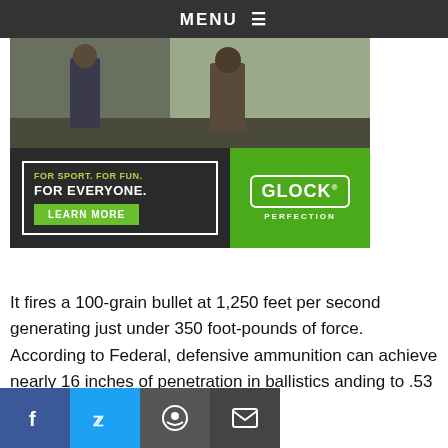MENU
[Figure (photo): Glock advertisement: 'FOR SPORT. FOR FUN. FOR EVERYONE.' with LEARN MORE button and Glock Perfection logo on green background, with photo of people outdoors.]
It fires a 100-grain bullet at 1,250 feet per second generating just under 350 foot-pounds of force. According to Federal, defensive ammunition can achieve nearly 16 inches of penetration in ballistics anding to .53 inches.